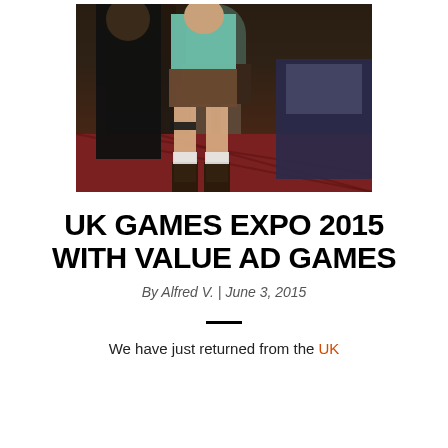[Figure (photo): Two people in cosplay at UK Games Expo 2015. One person wears a dark long coat, the other is dressed as Lara Croft in teal top and shorts with leg holster. Tables with board games visible in background, patterned carpet floor.]
UK GAMES EXPO 2015 WITH VALUE AD GAMES
By Alfred V. | June 3, 2015
We have just returned from the UK